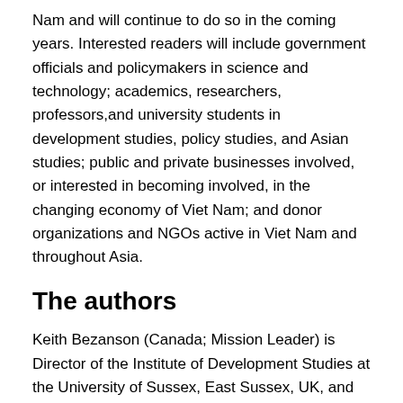Nam and will continue to do so in the coming years. Interested readers will include government officials and policymakers in science and technology; academics, researchers, professors,and university students in development studies, policy studies, and Asian studies; public and private businesses involved, or interested in becoming involved, in the changing economy of Viet Nam; and donor organizations and NGOs active in Viet Nam and throughout Asia.
The authors
Keith Bezanson (Canada; Mission Leader) is Director of the Institute of Development Studies at the University of Sussex, East Sussex, UK, and former President of Canada's International Development Research Centre.
Jan Annerstedt (Sweden) is Director of the Nordic